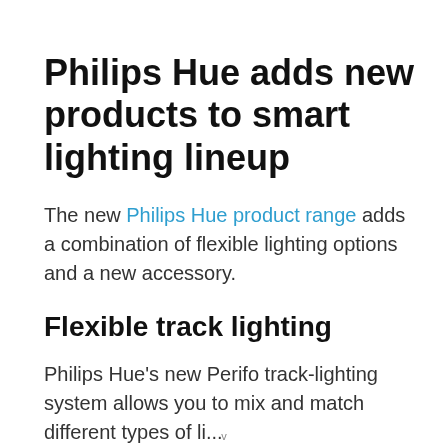Philips Hue adds new products to smart lighting lineup
The new Philips Hue product range adds a combination of flexible lighting options and a new accessory.
Flexible track lighting
Philips Hue's new Perifo track-lighting system allows you to mix and match different types of li...